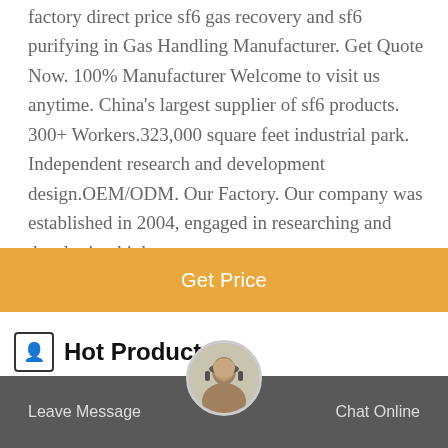factory direct price sf6 gas recovery and sf6 purifying in Gas Handling Manufacturer. Get Quote Now. 100% Manufacturer Welcome to visit us anytime. China's largest supplier of sf6 products. 300+ Workers.323,000 square feet industrial park. Independent research and development design.OEM/ODM. Our Factory. Our company was established in 2004, engaged in researching and developing high
Get Price
Hot Product
[Figure (photo): RA912 SF6 Gas Analyzer device, a rack-mounted electronic instrument with display and controls]
RA912 SF6 Gas Analyzer
For determining the quality of SF6 gas.
[Figure (photo): Customer service representative avatar with headset]
Leave Message
Chat Online